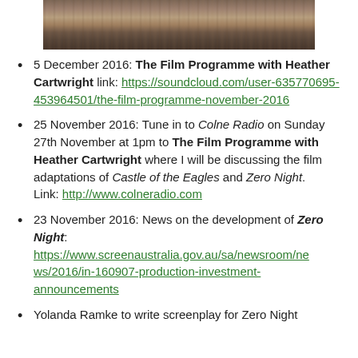[Figure (photo): Partial photo of a wooden surface/plank, showing wood grain texture in brown tones, cropped to show only the top portion.]
5 December 2016: The Film Programme with Heather Cartwright link: https://soundcloud.com/user-635770695-453964501/the-film-programme-november-2016
25 November 2016: Tune in to Colne Radio on Sunday 27th November at 1pm to The Film Programme with Heather Cartwright where I will be discussing the film adaptations of Castle of the Eagles and Zero Night. Link: http://www.colneradio.com
23 November 2016: News on the development of Zero Night: https://www.screenaustralia.gov.au/sa/newsroom/news/2016/in-160907-production-investment-announcements
Yolanda Ramke to write screenplay for Zero Night